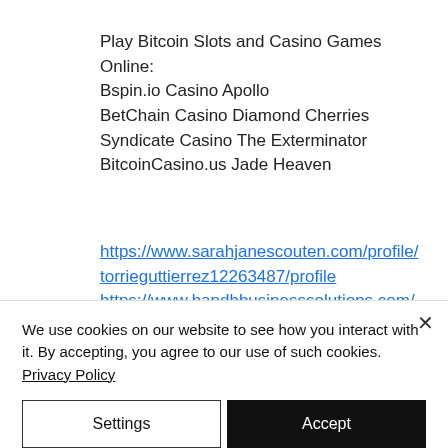Play Bitcoin Slots and Casino Games Online:
Bspin.io Casino Apollo
BetChain Casino Diamond Cherries
Syndicate Casino The Exterminator
BitcoinCasino.us Jade Heaven
https://www.sarahjanescouten.com/profile/torrieguttierrez12263487/profile
https://www.bandhbusinesssolutions.com/profile/teodoroferentz189266/profile
https://www.1satzliteraturclub.com/profile/eilenerodebaugh18038209/profile
We use cookies on our website to see how you interact with it. By accepting, you agree to our use of such cookies. Privacy Policy
Settings
Accept